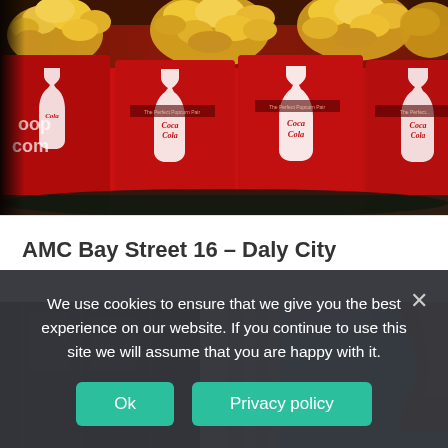[Figure (photo): Photo of multiple red Coca-Cola branded popcorn buckets filled with popcorn, arranged in a row at a movie theater concession stand. Each bucket has a white Coca-Cola bottle silhouette on the front. The left side shows partial text 'pop' and 'com' (from popcorn.com branding).]
AMC Bay Street 16 – Daly City
[Figure (photo): Partial photo of what appears to be a movie theater exterior or lobby area with building architecture visible, partially cropped by the cookie consent banner.]
We use cookies to ensure that we give you the best experience on our website. If you continue to use this site we will assume that you are happy with it.